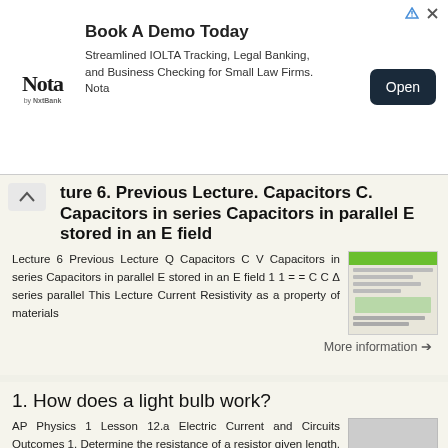[Figure (other): Advertisement banner: Nota by NxtBank - Book A Demo Today. Streamlined IOLTA Tracking, Legal Banking, and Business Checking for Small Law Firms. Nota. Open button.]
ture 6. Previous Lecture. Capacitors C. Capacitors in series Capacitors in parallel E stored in an E field
Lecture 6 Previous Lecture Q Capacitors C V Capacitors in series Capacitors in parallel E stored in an E field 1 1 = = C C Δ series parallel This Lecture Current Resistivity as a property of materials
More information →
1. How does a light bulb work?
AP Physics 1 Lesson 12.a Electric Current and Circuits Outcomes 1. Determine the resistance of a resistor given length, cross-sectional area, and length. 2. Relate the